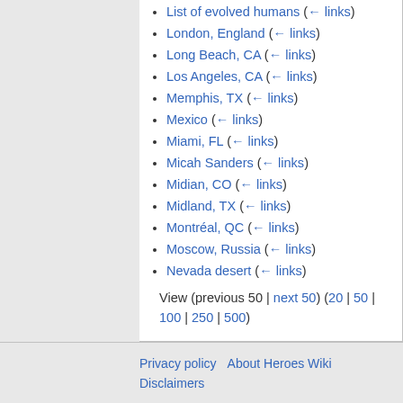List of evolved humans (← links)
London, England (← links)
Long Beach, CA (← links)
Los Angeles, CA (← links)
Memphis, TX (← links)
Mexico (← links)
Miami, FL (← links)
Micah Sanders (← links)
Midian, CO (← links)
Midland, TX (← links)
Montréal, QC (← links)
Moscow, Russia (← links)
Nevada desert (← links)
View (previous 50 | next 50) (20 | 50 | 100 | 250 | 500)
Privacy policy   About Heroes Wiki   Disclaimers